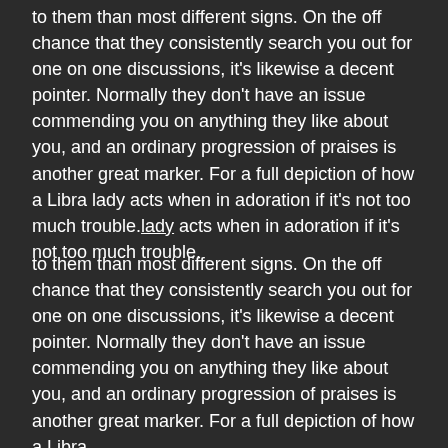to them than most different signs. On the off chance that they consistently search you out for one on one discussions, it's likewise a decent pointer. Normally they don't have an issue commending you on anything they like about you, and an ordinary progression of praises is another great marker. For a full depiction of how a Libra lady acts when in adoration if it's not too much trouble.
Instructions to grasp your Libra lady
Your Libra will have her own exceptional character attributes. This article discusses sun signs, in any case, there are numerous different elements. For instance, her moon sign decides her profound character which influences whether she is touchy, heartfelt, faithful, and so on. With her date, time, and area of birth these different variables can be determined for a total image of